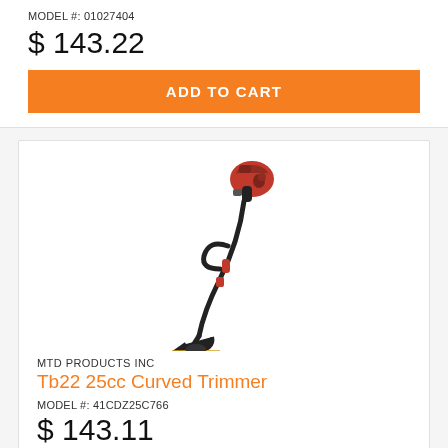MODEL #: 01027404
$ 143.22
ADD TO CART
[Figure (photo): Red and black curved shaft string trimmer/weed eater, standing vertically with curved shaft visible]
MTD PRODUCTS INC
Tb22 25cc Curved Trimmer
MODEL #: 41CDZ25C766
$ 143.11